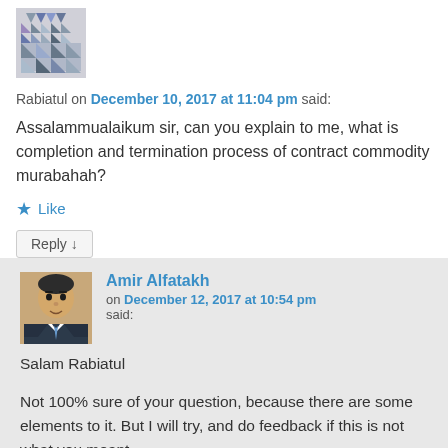[Figure (other): Avatar placeholder image with geometric pattern in grey/blue tones]
Rabiatul on December 10, 2017 at 11:04 pm said:
Assalammualaikum sir, can you explain to me, what is completion and termination process of contract commodity murabahah?
★ Like
Reply ↓
[Figure (photo): Profile photo of Amir Alfatakh, a man in a suit]
Amir Alfatakh on December 12, 2017 at 10:54 pm said:
Salam Rabiatul
Not 100% sure of your question, because there are some elements to it. But I will try, and do feedback if this is not what you meant.